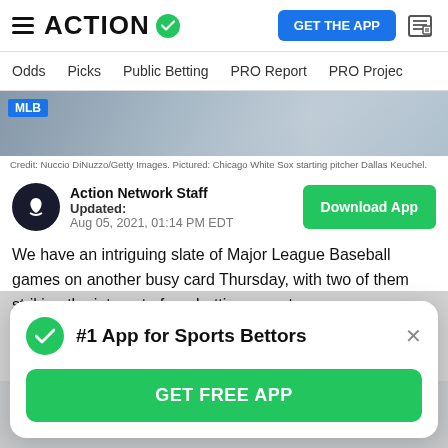ACTION [logo] | GET THE APP [button] [news icon]
Odds  Picks  Public Betting  PRO Report  PRO Projec
[Figure (photo): MLB article header photo showing Chicago White Sox starting pitcher Dallas Keuchel in uniform, partially visible from waist up. Blue MLB badge in top-left corner.]
Credit: Nuccio DiNuzzo/Getty Images. Pictured: Chicago White Sox starting pitcher Dallas Keuchel.
Action Network Staff
Updated:
Aug 05, 2021, 01:14 PM EDT
We have an intriguing slate of Major League Baseball games on another busy card Thursday, with two of them striking the interest of our betting experts.
Tanner McGrath and Collin Whitchurch have unveiled their top selections, both of which feature game totals.
#1 App for Sports Bettors
GET FREE APP